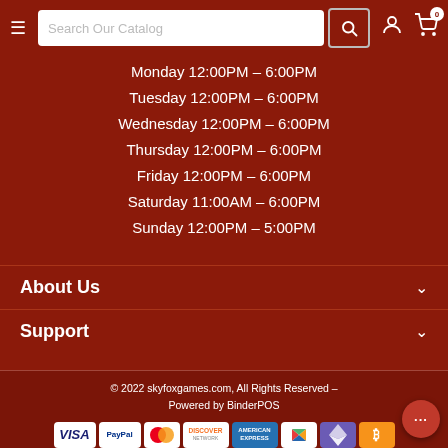Search Our Catalog — navigation bar with hamburger menu, search box, user icon, cart icon (0)
Monday 12:00PM - 6:00PM
Tuesday 12:00PM - 6:00PM
Wednesday 12:00PM - 6:00PM
Thursday 12:00PM - 6:00PM
Friday 12:00PM - 6:00PM
Saturday 11:00AM - 6:00PM
Sunday 12:00PM - 5:00PM
About Us
Support
© 2022 skyfoxgames.com, All Rights Reserved - Powered by BinderPOS